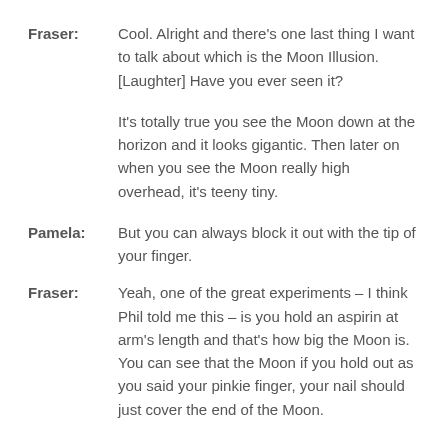Fraser: Cool. Alright and there's one last thing I want to talk about which is the Moon Illusion. [Laughter] Have you ever seen it?
It's totally true you see the Moon down at the horizon and it looks gigantic. Then later on when you see the Moon really high overhead, it's teeny tiny.
Pamela: But you can always block it out with the tip of your finger.
Fraser: Yeah, one of the great experiments – I think Phil told me this – is you hold an aspirin at arm's length and that's how big the Moon is. You can see that the Moon if you hold out as you said your pinkie finger, your nail should just cover the end of the Moon.